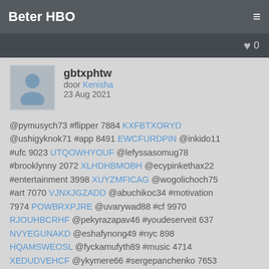Beter HBO
gbtxphtw
door Kenisha
23 Aug 2021
@pymusych73 #flipper 7884 KXFBTXORYD @ushigyknok71 #app 8491 EWCFURDPIN @inkido11 #ufc 9023 UTQOWHYOUF @lefyssasomug78 #brooklynny 2072 XLHDHBMOBH @ecypinkethax22 #entertainment 3998 XUYZMFICAG @wogolichoch75 #art 7070 VJNXJGZADD @abuchikoc34 #motivation 7974 POWBRXPJRE @uvarywad88 #cf 9970 RJOUHBCRHF @pekyrazapav46 #youdeserveit 637 NVYEGUNAKD @eshafynong49 #nyc 898 HQAMSWEOSL @fyckamufyth89 #music 4714 XEDUDVEHCF @ykymere66 #sergepanchenko 7653 OYFEWKBLCB @umewhizykno71 #nfl 6098